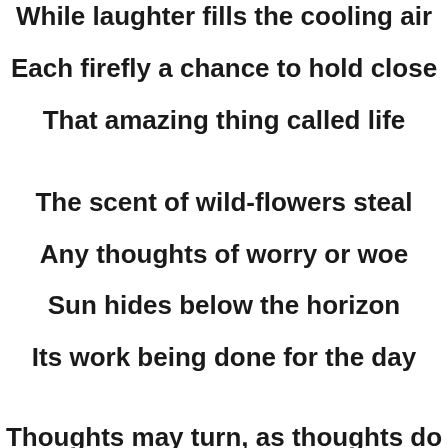While laughter fills the cooling air
Each firefly a chance to hold close
That amazing thing called life
The scent of wild-flowers steal
Any thoughts of worry or woe
Sun hides below the horizon
Its work being done for the day
Thoughts may turn, as thoughts do
To what tomorrow may hold